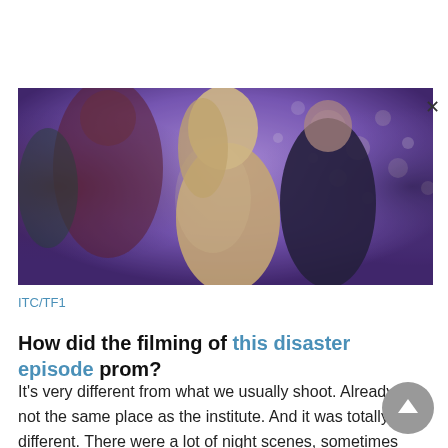[Figure (photo): Two people dancing at a prom. A woman in a sparkling silver/gold dress and a man in a dark suit, surrounded by purple/blue atmospheric lighting and bokeh lights in the background.]
ITC/TF1
How did the filming of this disaster episode prom?
It's very different from what we usually shoot. Already, it is not the same place as the institute. And it was totally different. There were a lot of night scenes, sometimes until 1am or 2am.